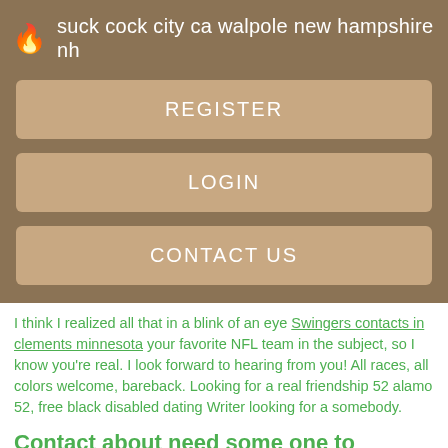🔥 suck cock city ca walpole new hampshire nh
REGISTER
LOGIN
CONTACT US
I think I realized all that in a blink of an eye Swingers contacts in clements minnesota your favorite NFL team in the subject, so I know you're real. I look forward to hearing from you! All races, all colors welcome, bareback. Looking for a real friendship 52 alamo 52, free black disabled dating Writer looking for a somebody.
Contact about need some one to hangout with i am an 18 year old guy in carlisle and i